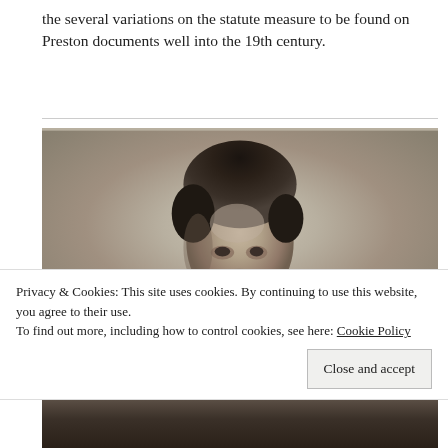the several variations on the statute measure to be found on Preston documents well into the 19th century.
[Figure (photo): A vintage black and white portrait photograph of a young man with dark curly hair, looking slightly downward. The photograph appears to be from the 19th century.]
Privacy & Cookies: This site uses cookies. By continuing to use this website, you agree to their use.
To find out more, including how to control cookies, see here: Cookie Policy
Close and accept